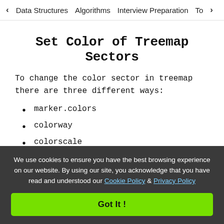< Data Structures   Algorithms   Interview Preparation   To>
Set Color of Treemap Sectors
To change the color sector in treemap there are three different ways:
marker.colors
colorway
colorscale
Example:
We use cookies to ensure you have the best browsing experience on our website. By using our site, you acknowledge that you have read and understood our Cookie Policy & Privacy Policy
Got It !